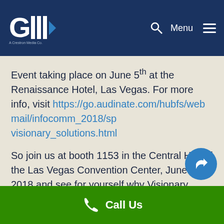GIIW — A Crestron Media Co — Menu
Event taking place on June 5th at the Renaissance Hotel, Las Vegas. For more info, visit https://go.audinate.com/hubfs/webmail/infocomm_2018/sp visionary_solutions.html
So join us at booth 1153 in the Central Hall of the Las Vegas Convention Center, June 6-8, 2018 and see for yourself why Visionary Solutions is the video technology audio professionals are talking about.
Call Us